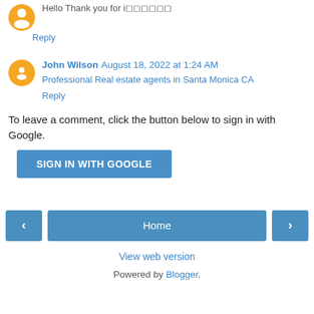Hello Thank you for i□□□□□□
Reply
John Wilson  August 18, 2022 at 1:24 AM
Professional Real estate agents in Santa Monica CA
Reply
To leave a comment, click the button below to sign in with Google.
[Figure (other): SIGN IN WITH GOOGLE button]
[Figure (other): Navigation bar with left arrow, Home button, right arrow]
View web version
Powered by Blogger.